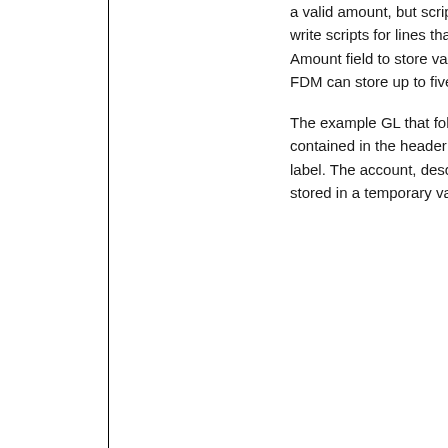a valid amount, but scripts write scripts for lines that F Amount field to store variab FDM can store up to five di
The example GL that follow contained in the header for label. The account, descript stored in a temporary varia